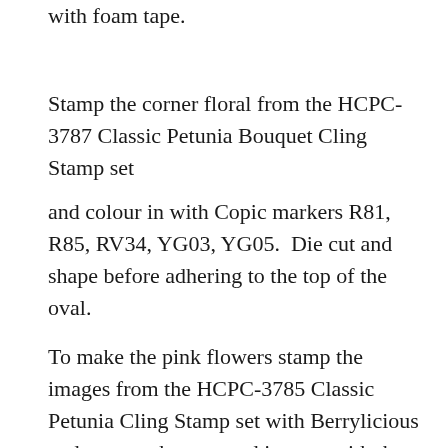with foam tape.
Stamp the corner floral from the HCPC-3787 Classic Petunia Bouquet Cling Stamp set
and colour in with Copic markers R81, R85, RV34, YG03, YG05.  Die cut and shape before adhering to the top of the oval.
To make the pink flowers stamp the images from the HCPC-3785 Classic Petunia Cling Stamp set with Berrylicious and sponge the stamped images with the